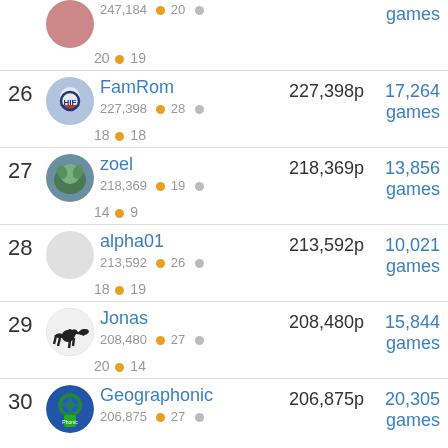Partial row: 247,184p • 20 • ... games | 20 • 19
26 FamRom 227,398p 17,264 games | 227,398 • 28 • | 18 • 18
27 zoel 218,369p 13,856 games | 218,369 • 19 • | 14 • 9
28 alpha01 213,592p 10,021 games | 213,592 • 26 • | 18 • 19
29 Jonas 208,480p 15,844 games | 208,480 • 27 • | 20 • 14
30 Geographonic 206,875p 20,305 games | 206,875 • 27 •